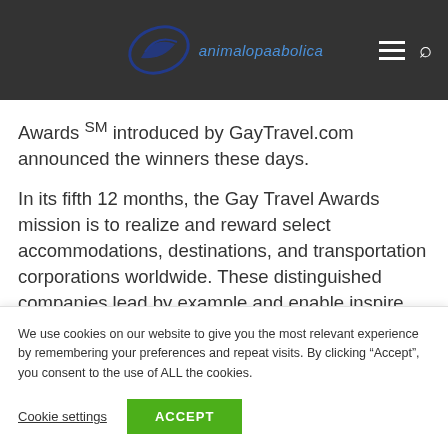animalopaabolica [logo/site header with navigation icons]
Awards ˢᴹ introduced by GayTravel.com announced the winners these days.
In its fifth 12 months, the Gay Travel Awards mission is to realize and reward select accommodations, destinations, and transportation corporations worldwide. These distinguished companies lead by example and enable inspire other businesses and models to stick to their spirit
We use cookies on our website to give you the most relevant experience by remembering your preferences and repeat visits. By clicking “Accept”, you consent to the use of ALL the cookies.
Cookie settings  ACCEPT